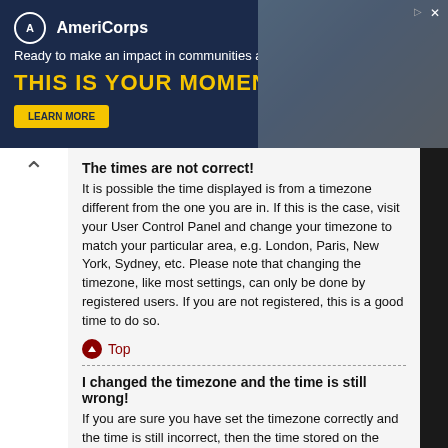[Figure (screenshot): AmeriCorps advertisement banner with dark navy background, logo, tagline 'Ready to make an impact in communities across the country?', text 'THIS IS YOUR MOMENT.' in gold, Learn More button, and photo of people at computers on the right.]
The times are not correct!
It is possible the time displayed is from a timezone different from the one you are in. If this is the case, visit your User Control Panel and change your timezone to match your particular area, e.g. London, Paris, New York, Sydney, etc. Please note that changing the timezone, like most settings, can only be done by registered users. If you are not registered, this is a good time to do so.
Top
I changed the timezone and the time is still wrong!
If you are sure you have set the timezone correctly and the time is still incorrect, then the time stored on the server clock is incorrect. Please notify an administrator to correct the problem.
Top
My language is not in the list!
Either the administrator has not installed your language or nobody has translated this board into your language. Try